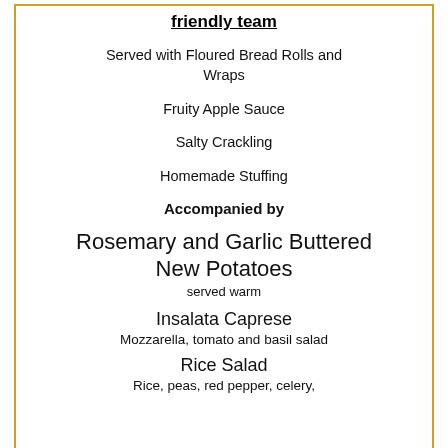friendly team
Served with Floured Bread Rolls and Wraps
Fruity Apple Sauce
Salty Crackling
Homemade Stuffing
Accompanied by
Rosemary and Garlic Buttered New Potatoes
served warm
Insalata Caprese
Mozzarella, tomato and basil salad
Rice Salad
Rice, peas, red pepper, celery,